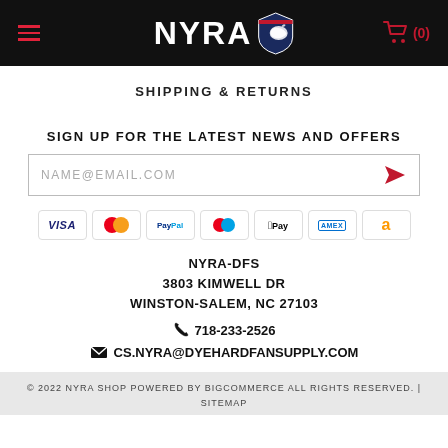[Figure (logo): NYRA shop website header with black background, hamburger menu icon in red on the left, NYRA logo with shield emblem in the center, and red shopping cart icon with (0) on the right]
SHIPPING & RETURNS
SIGN UP FOR THE LATEST NEWS AND OFFERS
NAME@EMAIL.COM (email input field with red send arrow)
[Figure (infographic): Payment method icons row: Visa, Mastercard, PayPal, Maestro, Apple Pay, Amex, Amazon]
NYRA-DFS
3803 KIMWELL DR
WINSTON-SALEM, NC 27103
718-233-2526
CS.NYRA@DYEHARDFANSUPPLY.COM
© 2022 NYRA SHOP POWERED BY BIGCOMMERCE ALL RIGHTS RESERVED. | SITEMAP